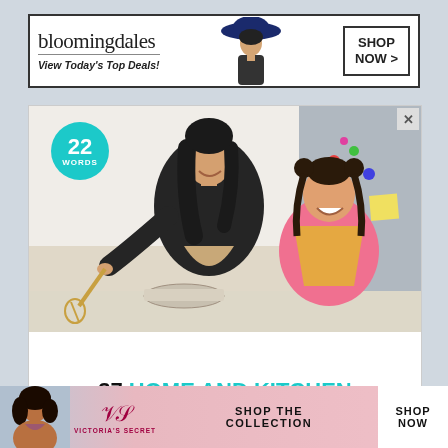[Figure (screenshot): Bloomingdales banner advertisement with logo, tagline 'View Today's Top Deals!', model with hat, and 'SHOP NOW >' button]
[Figure (screenshot): 22 Words article advertisement showing mother and daughter cooking together in kitchen, with headline '37 HOME AND KITCHEN ITEMS EVERYONE SHOULD OWN' and teal circular badge with '22 WORDS']
[Figure (screenshot): Victoria's Secret bottom banner ad with model, VS logo, 'SHOP THE COLLECTION' text, and 'SHOP NOW' button on pink/blue gradient background]
CLOSE